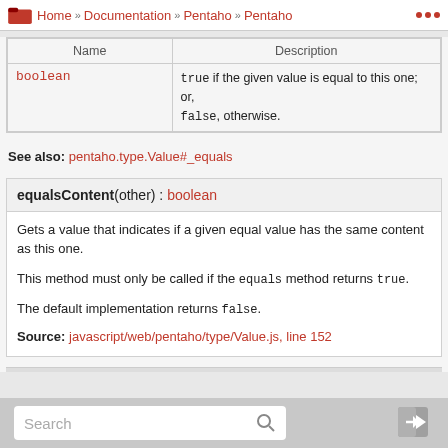Home » Documentation » Pentaho » Pentaho ...
| Name | Description |
| --- | --- |
| boolean | true if the given value is equal to this one; or, false, otherwise. |
See also: pentaho.type.Value#_equals
equalsContent(other) : boolean
Gets a value that indicates if a given equal value has the same content as this one.
This method must only be called if the equals method returns true.
The default implementation returns false.
Source: javascript/web/pentaho/type/Value.js, line 152
Search